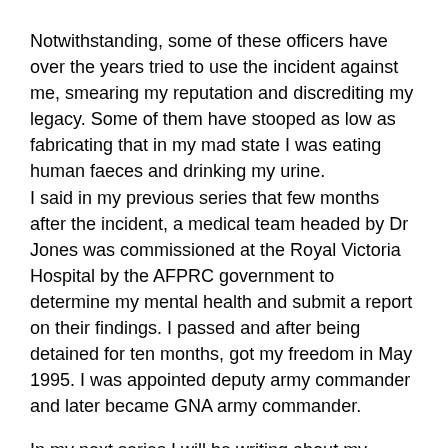Notwithstanding, some of these officers have over the years tried to use the incident against me, smearing my reputation and discrediting my legacy. Some of them have stooped as low as fabricating that in my mad state I was eating human faeces and drinking my urine. I said in my previous series that few months after the incident, a medical team headed by Dr Jones was commissioned at the Royal Victoria Hospital by the AFPRC government to determine my mental health and submit a report on their findings. I passed and after being detained for ten months, got my freedom in May 1995. I was appointed deputy army commander and later became GNA army commander.
In my next series I will be writing about my experience of the coup d'etat, starting from Sunday, 17 July 1994 when for